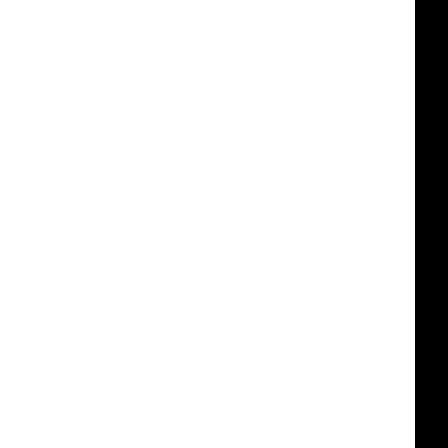anual/triggers... Preprocessing /tmp/B.ba590 manual/tsort... Parsing file /tmp/B.ba5965 anual/tsort... Preprocessing /tmp/B.ba590 cpio.c... Parsing file /tmp/B.ba5965 pio.c... Preprocessing /tmp/B.ba590 cpio.h... Parsing file /tmp/B.ba5965 pio.h... Preprocessing /tmp/B.ba590 depends.c... Parsing file /tmp/B.ba5965 epends.c... Preprocessing /tmp/B.ba590 formats.c... Parsing file /tmp/B.ba5965 ormats.c... Preprocessing /tmp/B.ba590 fs.c... Parsing file /tmp/B.ba5965